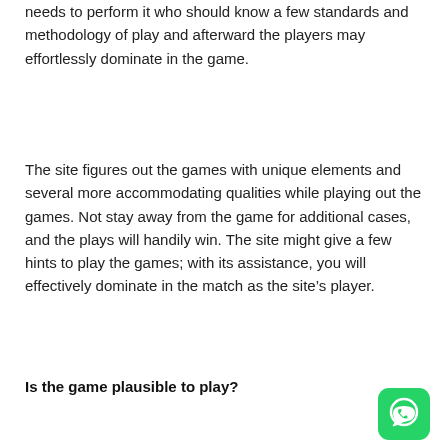needs to perform it who should know a few standards and methodology of play and afterward the players may effortlessly dominate in the game.
The site figures out the games with unique elements and several more accommodating qualities while playing out the games. Not stay away from the game for additional cases, and the plays will handily win. The site might give a few hints to play the games; with its assistance, you will effectively dominate in the match as the site’s player.
Is the game plausible to play?
[Figure (logo): WhatsApp logo icon — green rounded square with white phone/chat bubble icon]